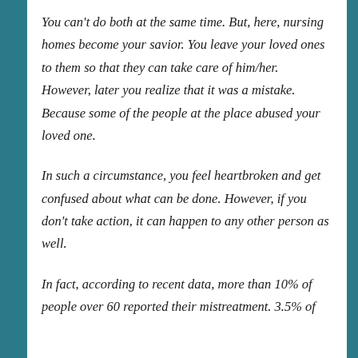You can't do both at the same time. But, here, nursing homes become your savior. You leave your loved ones to them so that they can take care of him/her. However, later you realize that it was a mistake. Because some of the people at the place abused your loved one.
In such a circumstance, you feel heartbroken and get confused about what can be done. However, if you don't take action, it can happen to any other person as well.
In fact, according to recent data, more than 10% of people over 60 reported their mistreatment. 3.5% of